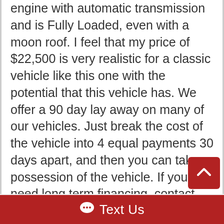engine with automatic transmission and is Fully Loaded, even with a moon roof. I feel that my price of $22,500 is very realistic for a classic vehicle like this one with the potential that this vehicle has. We offer a 90 day lay away on many of our vehicles. Just break the cost of the vehicle into 4 equal payments 30 days apart, and then you can take possession of the vehicle. If you need long term financing, contact Debbie at Woodside Credit Union. Her number is 409-730-5308. Another excellent lending company is JJBest.com. Just tell either of them that you are looking at a vehicle at Classic Cars of SC. I might consider a possible trade, what do you have? What are you looking for? Lets talk!!! I sure would love to make this Classic yours. What can I do to make that happen? If this Classic is the vehicle of your dreams, then the best time to buy it is BEFORE someone
Text Us